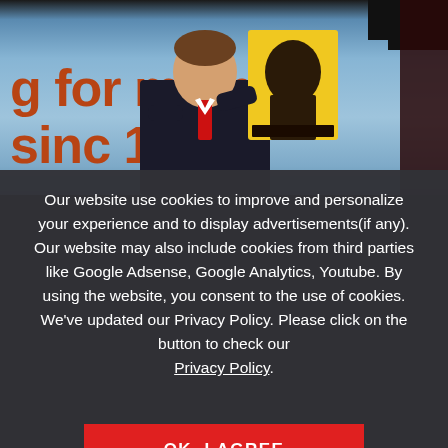[Figure (photo): A man in a suit holding up a yellow poster with a person's face on it, standing at what appears to be a conference or political event. The background shows a blue gradient banner with the text 'g for memb since 18' in dark red/brown lettering (partially visible).]
Our website use cookies to improve and personalize your experience and to display advertisements(if any). Our website may also include cookies from third parties like Google Adsense, Google Analytics, Youtube. By using the website, you consent to the use of cookies. We've updated our Privacy Policy. Please click on the button to check our Privacy Policy.